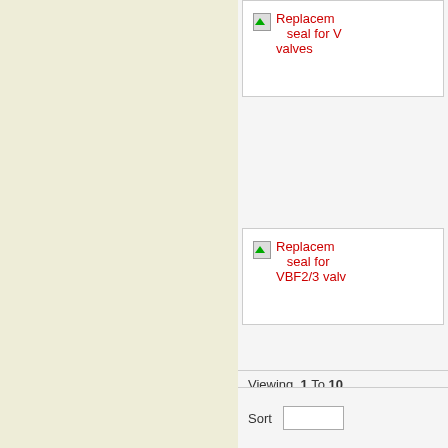[Figure (screenshot): Left panel with light beige/cream background, no content visible in cropped view]
Replacement seal for V valves
Replacement seal for VBF2/3 valv
Replacement seal for V valves
Viewing 1 To 10
Sort by